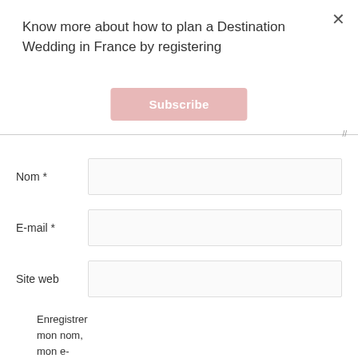Know more about how to plan a Destination Wedding in France by registering
Subscribe
Nom *
E-mail *
Site web
Enregistrer mon nom, mon e-